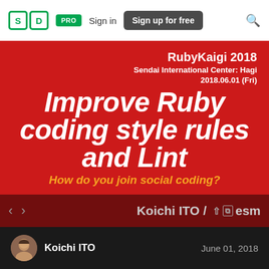SD PRO  Sign in  Sign up for free  🔍
[Figure (screenshot): Presentation slide thumbnail on red background. Title: Improve Ruby coding style rules and Lint. Subtitle: How do you join social coding? Event: RubyKaigi 2018, Sendai International Center: Hagi, 2018.06.01 (Fri). Speaker: Koichi ITO / esm]
Koichi ITO   June 01, 2018